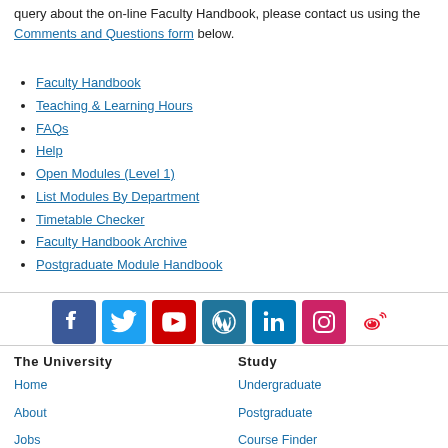query about the on-line Faculty Handbook, please contact us using the Comments and Questions form below.
Faculty Handbook
Teaching & Learning Hours
FAQs
Help
Open Modules (Level 1)
List Modules By Department
Timetable Checker
Faculty Handbook Archive
Postgraduate Module Handbook
[Figure (infographic): Row of social media icons: Facebook, Twitter, YouTube, WordPress, LinkedIn, Instagram, Weibo]
The University | Home | About | Jobs | Study | Undergraduate | Postgraduate | Course Finder